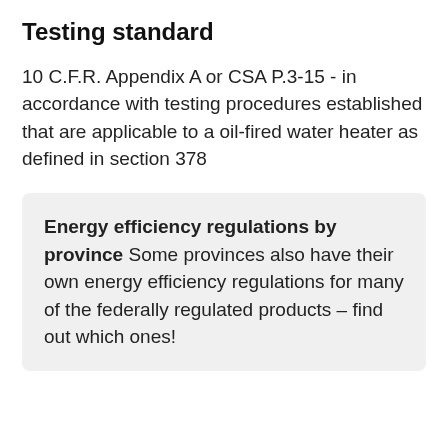Testing standard
10 C.F.R. Appendix A or CSA P.3-15 - in accordance with testing procedures established that are applicable to a oil-fired water heater as defined in section 378
Energy efficiency regulations by province  Some provinces also have their own energy efficiency regulations for many of the federally regulated products – find out which ones!